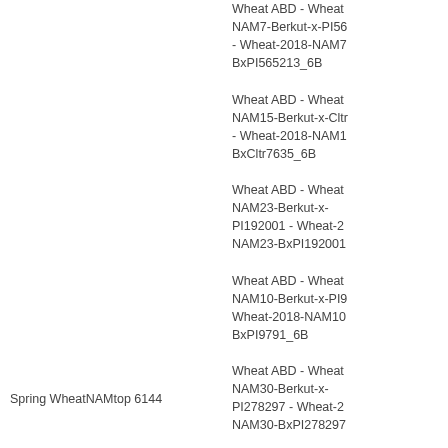Wheat ABD - Wheat NAM7-Berkut-x-PI565213 - Wheat-2018-NAM7-BxPI565213_6B
Wheat ABD - Wheat NAM15-Berkut-x-Cltr7635 - Wheat-2018-NAM15-BxCltr7635_6B
Wheat ABD - Wheat NAM23-Berkut-x-PI192001 - Wheat-2018-NAM23-BxPI192001_6B
Wheat ABD - Wheat NAM10-Berkut-x-PI9791 - Wheat-2018-NAM10-BxPI9791_6B
Wheat ABD - Wheat NAM30-Berkut-x-PI278297 - Wheat-2018-NAM30-BxPI278297_6B
Wheat ABD - Wheat NAM3-Berkut-x-PI283147 - Wheat-2018-NAM3-BxPI283147_6B
Wheat ABD - Wheat NAM11-Berkut-x-Cltr4175 - Wheat-2018-NAM11-BxCltr4175_6B
Spring WheatNAMtop 6144